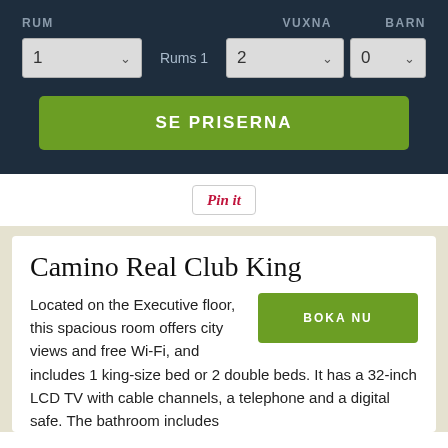RUM
VUXNA
BARN
1
Rums 1
2
0
SE PRISERNA
[Figure (screenshot): Pin it button with Pinterest styling]
Camino Real Club King
BOKA NU
Located on the Executive floor, this spacious room offers city views and free Wi-Fi, and includes 1 king-size bed or 2 double beds. It has a 32-inch LCD TV with cable channels, a telephone and a digital safe. The bathroom includes